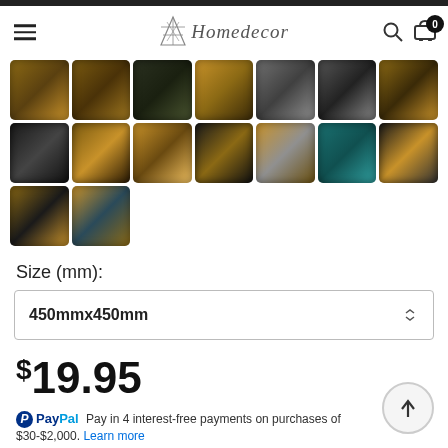Homedecor
[Figure (photo): Grid of 16 decorative lion/tiger pillow cushion thumbnail images arranged in 3 rows]
Size (mm):
450mmx450mm
$19.95
PayPal Pay in 4 interest-free payments on purchases of $30-$2,000. Learn more